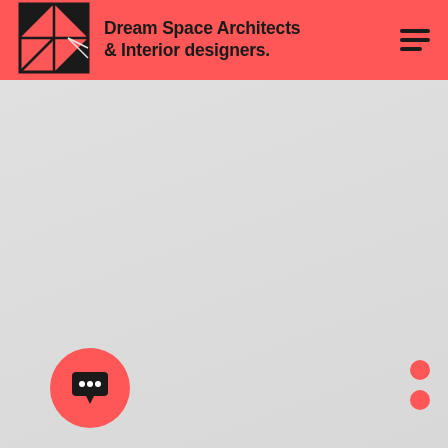[Figure (logo): Dream Space Architects & Interior designers logo with geometric square icon and brand name]
Dream Space Architects & Interior designers.
[Figure (illustration): Navigation hamburger menu icon (three horizontal lines)]
[Figure (illustration): Two coral/red dot navigation indicators on right side]
[Figure (illustration): Red circular chat/message button with ellipsis speech bubble icon at bottom left]